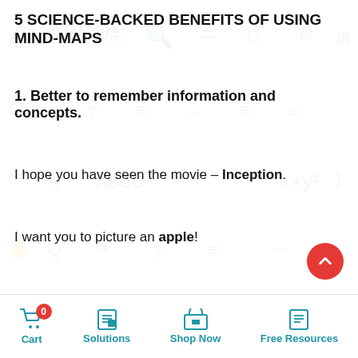5 SCIENCE-BACKED BENEFITS OF USING MIND-MAPS
1. Better to remember information and concepts.
I hope you have seen the movie – Inception.
I want you to picture an apple!
What are you picturing?
Cart 0 | Solutions | Shop Now | Free Resources